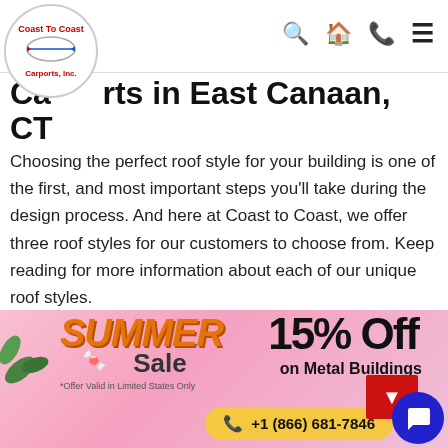Coast To Coast Carports, Inc. — navigation header with search, home, phone, menu icons
Carports in East Canaan, CT
Choosing the perfect roof style for your building is one of the first, and most important steps you'll take during the design process. And here at Coast to Coast, we offer three roof styles for our customers to choose from. Keep reading for more information about each of our unique roof styles.
Regular (Good) – The regular roof is the most economical style in the metal building industry. Its horizontally-oriented panels make [a] roof
[Figure (infographic): Summer Sale banner: SUMMER Sale in orange italic bold text, 15% Off on Metal Buildings in black bold, phone number +1 (866) 681-7846 in yellow oval, pink floral background, decorative leaves, sunglasses, chat bubble icon, *Offer Valid in Limited States Only]